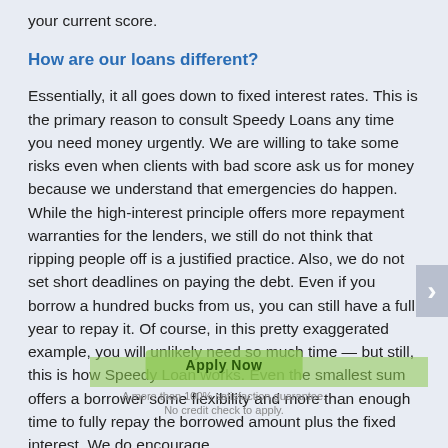your current score.
How are our loans different?
Essentially, it all goes down to fixed interest rates. This is the primary reason to consult Speedy Loans any time you need money urgently. We are willing to take some risks even when clients with bad score ask us for money because we understand that emergencies do happen. While the high-interest principle offers more repayment warranties for the lenders, we still do not think that ripping people off is a justified practice. Also, we do not set short deadlines on paying the debt. Even if you borrow a hundred bucks from us, you can still have a full year to repay it. Of course, in this pretty exaggerated example, you will unlikely need so much time — but still, this is how Speedy Loan works. Even the smallest sum offers a borrower some flexibility and more than enough time to fully repay the borrowed amount plus the fixed interest. We do encourage